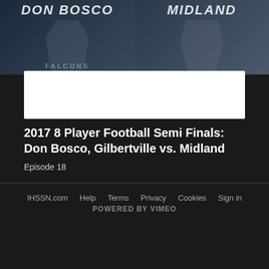[Figure (photo): Two-panel sports graphic showing team names DON BOSCO on left and MIDLAND on right, with player imagery and a white bar overlay at the bottom]
2017 8 Player Football Semi Finals: Don Bosco, Gilbertville vs. Midland
Episode 18
IHSSN.com   Help   Terms   Privacy   Cookies   Sign in
POWERED BY VIMEO